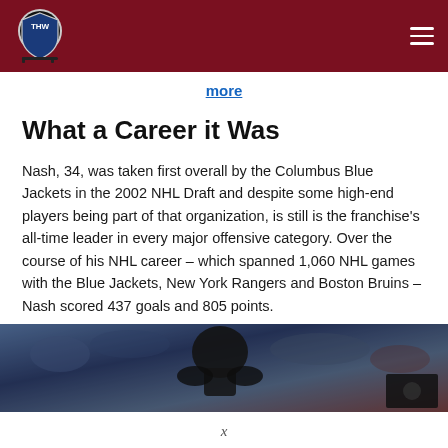THW - The Hockey Writers
more
What a Career it Was
Nash, 34, was taken first overall by the Columbus Blue Jackets in the 2002 NHL Draft and despite some high-end players being part of that organization, is still is the franchise's all-time leader in every major offensive category. Over the course of his NHL career – which spanned 1,060 NHL games with the Blue Jackets, New York Rangers and Boston Bruins – Nash scored 437 goals and 805 points.
[Figure (photo): Photo of a hockey player or related hockey scene, cropped, showing crowd in background and a dark figure in center]
x